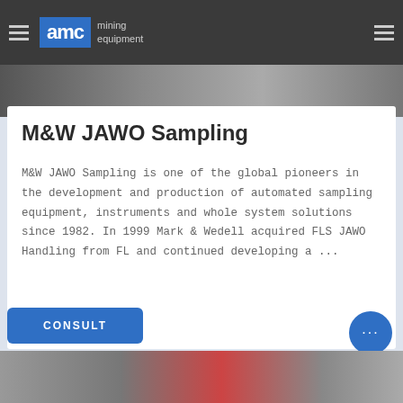AMC mining equipment
[Figure (photo): Top photo strip showing mining equipment]
M&W JAWO Sampling
M&W JAWO Sampling is one of the global pioneers in the development and production of automated sampling equipment, instruments and whole system solutions since 1982. In 1999 Mark & Wedell acquired FLS JAWO Handling from FL and continued developing a ...
[Figure (other): CONSULT button]
[Figure (other): Chat bubble icon]
[Figure (photo): Bottom photo strip showing mining equipment]